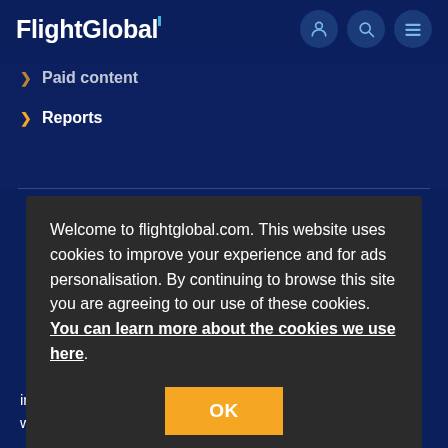FlightGlobal
Paid content
Reports
Welcome to flightglobal.com. This website uses cookies to improve your experience and for ads personalisation. By continuing to browse this site you are agreeing to our use of these cookies. You can learn more about the cookies we use here.
in your area of industry with high quality selected content written by FlightGlobal's team.